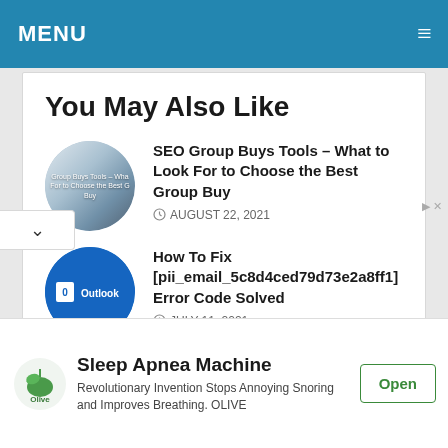MENU
You May Also Like
SEO Group Buys Tools – What to Look For to Choose the Best Group Buy
AUGUST 22, 2021
How To Fix [pii_email_5c8d4ced79d73e2a8ff1] Error Code Solved
JULY 11, 2021
Sleep Apnea Machine
Revolutionary Invention Stops Annoying Snoring and Improves Breathing. OLIVE